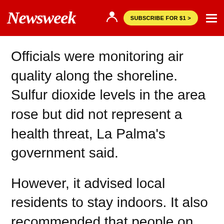Newsweek | SUBSCRIBE FOR $1 >
Officials were monitoring air quality along the shoreline. Sulfur dioxide levels in the area rose but did not represent a health threat, La Palma's government said.
However, it advised local residents to stay indoors. It also recommended that people on the island wear face masks and eye protection against heavy falls of volcanic ash.
The volcano has so far emitted some 80 million